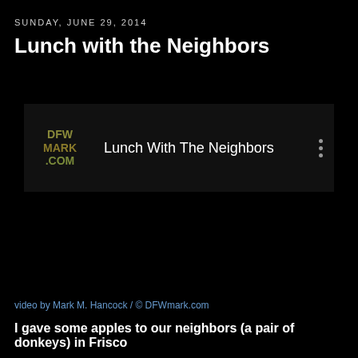SUNDAY, JUNE 29, 2014
Lunch with the Neighbors
[Figure (screenshot): Video thumbnail block showing DFWmark.com logo on left and title 'Lunch With The Neighbors' with three-dot menu icon on right]
video by Mark M. Hancock / © DFWmark.com
I gave some apples to our neighbors (a pair of donkeys) in Frisco